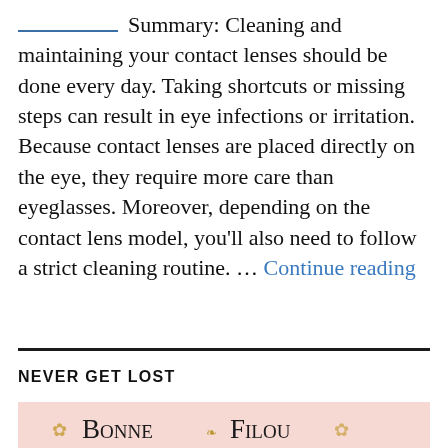Summary: Cleaning and maintaining your contact lenses should be done every day. Taking shortcuts or missing steps can result in eye infections or irritation. Because contact lenses are placed directly on the eye, they require more care than eyeglasses. Moreover, depending on the contact lens model, you'll also need to follow a strict cleaning routine. … Continue reading
NEVER GET LOST
[Figure (logo): Bonne Filou logo on a pink/salmon background with ornamental decoration]